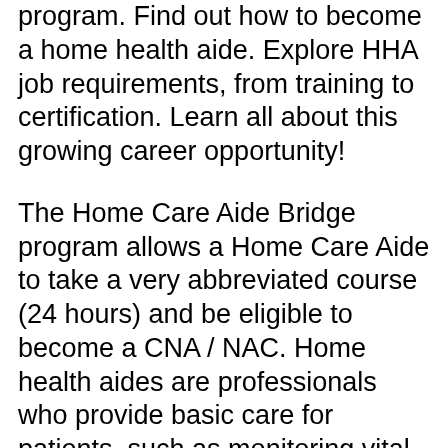program. Find out how to become a home health aide. Explore HHA job requirements, from training to certification. Learn all about this growing career opportunity!
The Home Care Aide Bridge program allows a Home Care Aide to take a very abbreviated course (24 hours) and be eligible to become a CNA / NAC. Home health aides are professionals who provide basic care for patients, such as monitoring vital signs in their own residences. In New York State, all home health
California Home Visiting Program. HIV Care Program; is primarily responsible